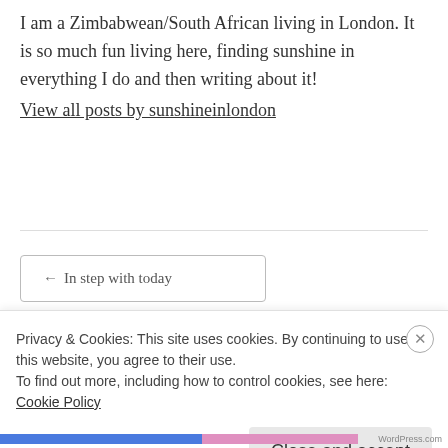I am a Zimbabwean/South African living in London. It is so much fun living here, finding sunshine in everything I do and then writing about it!
View all posts by sunshineinlondon
← In step with today
Privacy & Cookies: This site uses cookies. By continuing to use this website, you agree to their use.
To find out more, including how to control cookies, see here:
Cookie Policy
Close and accept